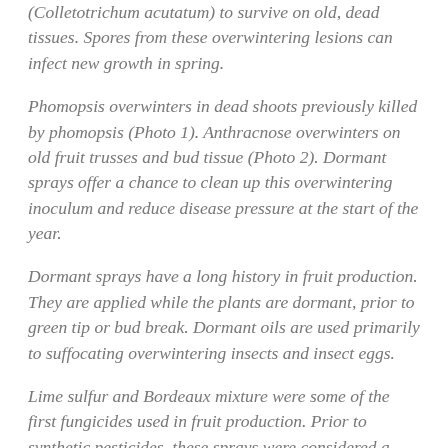(Colletotrichum acutatum) to survive on old, dead tissues. Spores from these overwintering lesions can infect new growth in spring.
Phomopsis overwinters in dead shoots previously killed by phomopsis (Photo 1). Anthracnose overwinters on old fruit trusses and bud tissue (Photo 2). Dormant sprays offer a chance to clean up this overwintering inoculum and reduce disease pressure at the start of the year.
Dormant sprays have a long history in fruit production. They are applied while the plants are dormant, prior to green tip or bud break. Dormant oils are used primarily to suffocating overwintering insects and insect eggs.
Lime sulfur and Bordeaux mixture were some of the first fungicides used in fruit production. Prior to synthetic pesticides, these sprays were considered a